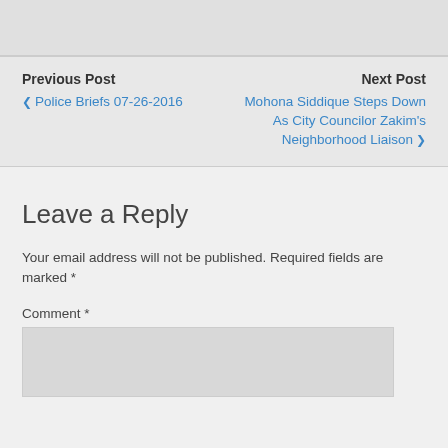Previous Post
❮ Police Briefs 07-26-2016
Next Post
Mohona Siddique Steps Down As City Councilor Zakim's Neighborhood Liaison ❯
Leave a Reply
Your email address will not be published. Required fields are marked *
Comment *